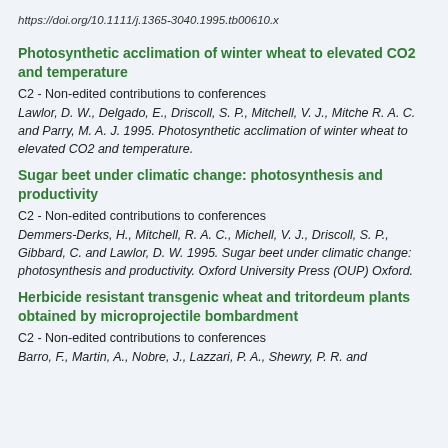https://doi.org/10.1111/j.1365-3040.1995.tb00610.x
Photosynthetic acclimation of winter wheat to elevated CO2 and temperature
C2 - Non-edited contributions to conferences
Lawlor, D. W., Delgado, E., Driscoll, S. P., Mitchell, V. J., Mitche R. A. C. and Parry, M. A. J. 1995. Photosynthetic acclimation of winter wheat to elevated CO2 and temperature.
Sugar beet under climatic change: photosynthesis and productivity
C2 - Non-edited contributions to conferences
Demmers-Derks, H., Mitchell, R. A. C., Michell, V. J., Driscoll, S. P., Gibbard, C. and Lawlor, D. W. 1995. Sugar beet under climatic change: photosynthesis and productivity. Oxford University Press (OUP) Oxford.
Herbicide resistant transgenic wheat and tritordeum plants obtained by microprojectile bombardment
C2 - Non-edited contributions to conferences
Barro, F., Martin, A., Nobre, J., Lazzari, P. A., Shewry, P. R. and ...